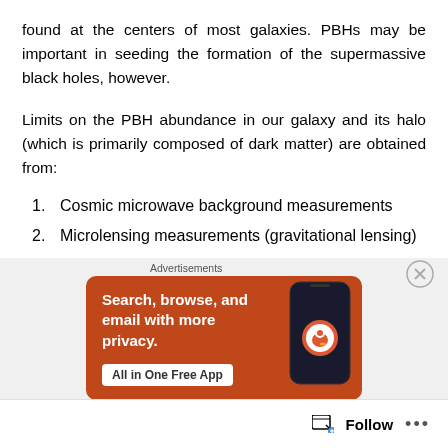found at the centers of most galaxies. PBHs may be important in seeding the formation of the supermassive black holes, however.
Limits on the PBH abundance in our galaxy and its halo (which is primarily composed of dark matter) are obtained from:
1. Cosmic microwave background measurements
2. Microlensing measurements (gravitational lensing)
3. Gamma-ray background limits
4. Neutral hydrogen clouds in the early universe
[Figure (other): Advertisement banner for DuckDuckGo: Search, browse, and email with more privacy. All in One Free App.]
Follow ...